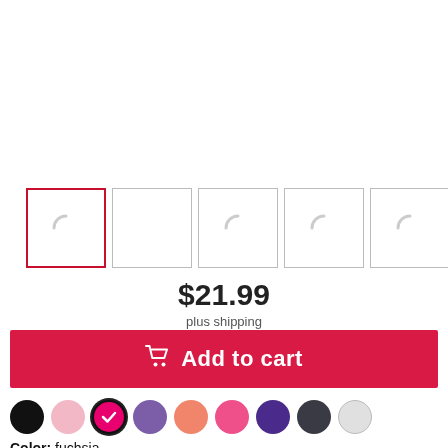[Figure (screenshot): Five product image thumbnails in a row; the first one has a red border indicating it is selected. All thumbnails show a loading spinner arc icon.]
$21.99
plus shipping
Add to cart
[Figure (illustration): A row of nine color swatches (circles): black, light pink, fuchsia/hot pink (selected with checkmark), medium purple, orange/salmon, hot pink, dark purple, dark charcoal, light gray/white.]
Color: fuchsia